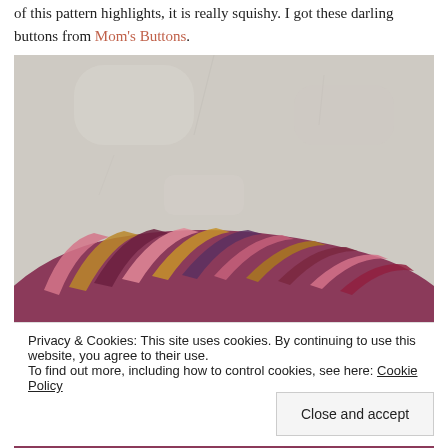of this pattern highlights, it is really squishy. I got these darling buttons from Mom's Buttons.
[Figure (photo): Close-up photo of a colorful knitted or crocheted textile with multicolored yarn in shades of pink, red, burgundy, gold, and purple, lying on a light gray textured surface.]
Privacy & Cookies: This site uses cookies. By continuing to use this website, you agree to their use.
To find out more, including how to control cookies, see here: Cookie Policy
Close and accept